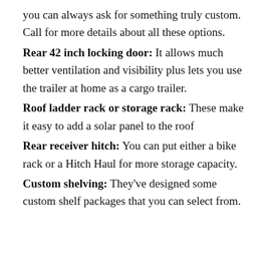you can always ask for something truly custom. Call for more details about all these options.
Rear 42 inch locking door: It allows much better ventilation and visibility plus lets you use the trailer at home as a cargo trailer.
Roof ladder rack or storage rack: These make it easy to add a solar panel to the roof
Rear receiver hitch: You can put either a bike rack or a Hitch Haul for more storage capacity.
Custom shelving: They've designed some custom shelf packages that you can select from.